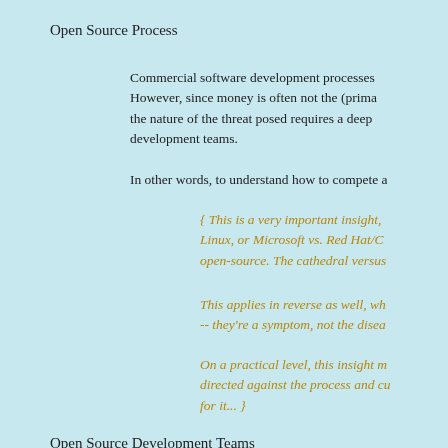Open Source Process
Commercial software development processes However, since money is often not the (prima the nature of the threat posed requires a deep development teams.
In other words, to understand how to compete a
{ This is a very important insight, Linux, or Microsoft vs. Red Hat/C open-source. The cathedral versus
This applies in reverse as well, wh -- they're a symptom, not the disea
On a practical level, this insight m directed against the process and cu for it... }
Open Source Development Teams
Some of the key attributes of Internet-driven O
Geographically far-flung. Some of the key developer